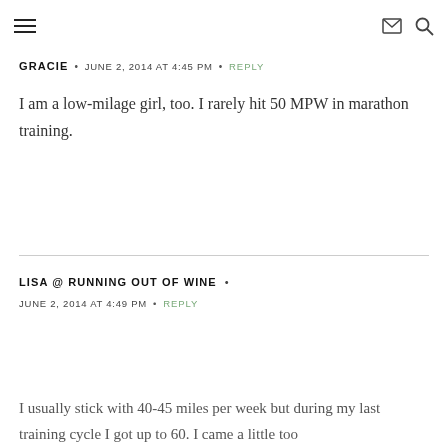[hamburger menu icon] [envelope icon] [search icon]
GRACIE • JUNE 2, 2014 AT 4:45 PM • REPLY
I am a low-milage girl, too. I rarely hit 50 MPW in marathon training.
LISA @ RUNNING OUT OF WINE • JUNE 2, 2014 AT 4:49 PM • REPLY
I usually stick with 40-45 miles per week but during my last training cycle I got up to 60. I came a little too